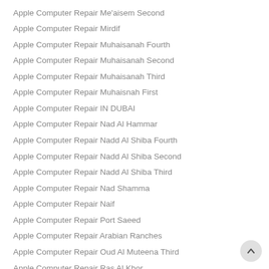Apple Computer Repair Me'aisem Second
Apple Computer Repair Mirdif
Apple Computer Repair Muhaisanah Fourth
Apple Computer Repair Muhaisanah Second
Apple Computer Repair Muhaisanah Third
Apple Computer Repair Muhaisnah First
Apple Computer Repair IN DUBAI
Apple Computer Repair Nad Al Hammar
Apple Computer Repair Nadd Al Shiba Fourth
Apple Computer Repair Nadd Al Shiba Second
Apple Computer Repair Nadd Al Shiba Third
Apple Computer Repair Nad Shamma
Apple Computer Repair Naif
Apple Computer Repair Port Saeed
Apple Computer Repair Arabian Ranches
Apple Computer Repair Oud Al Muteena Third
Apple Computer Repair Ras Al Khor
Apple Computer Repair Ras Al Khor Industrial First
Apple Computer Repair Ras Al Khor Industrial Second
Apple Computer Repair Ras Al Khor Industrial Third
Apple Computer Repair Rigga Al Buteen